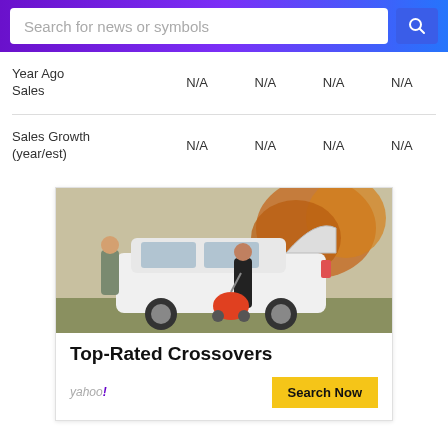Search for news or symbols
|  |  |  |  |  |
| --- | --- | --- | --- | --- |
| Year Ago Sales | N/A | N/A | N/A | N/A |
| Sales Growth (year/est) | N/A | N/A | N/A | N/A |
[Figure (photo): Advertisement showing a couple loading a baby stroller into a white SUV/crossover car in autumn setting]
Top-Rated Crossovers
yahoo!
Search Now